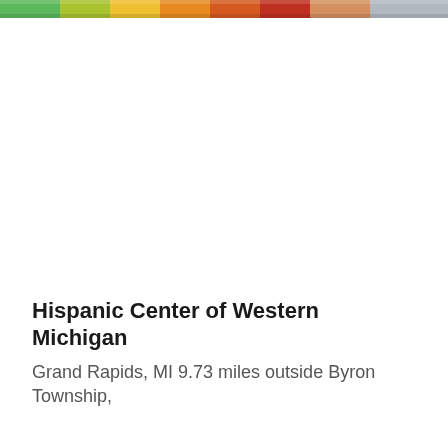[Figure (photo): A colorful horizontal image strip at the top of the page, showing a row of people or colorful objects with rainbow-like colors (green, yellow, orange, red tones).]
Hispanic Center of Western Michigan
Grand Rapids, MI 9.73 miles outside Byron Township,